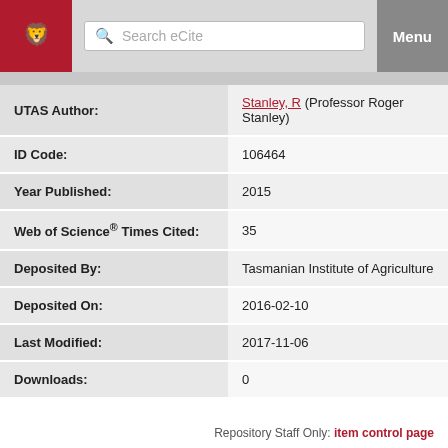Search eCite | Menu
| Field | Value |
| --- | --- |
| UTAS Author: | Stanley, R (Professor Roger Stanley) |
| ID Code: | 106464 |
| Year Published: | 2015 |
| Web of Science® Times Cited: | 35 |
| Deposited By: | Tasmanian Institute of Agriculture |
| Deposited On: | 2016-02-10 |
| Last Modified: | 2017-11-06 |
| Downloads: | 0 |
Repository Staff Only: item control page